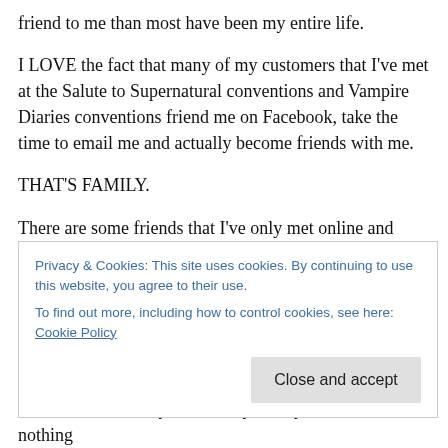friend to me than most have been my entire life.
I LOVE the fact that many of my customers that I've met at the Salute to Supernatural conventions and Vampire Diaries conventions friend me on Facebook, take the time to email me and actually become friends with me.
THAT'S FAMILY.
There are some friends that I've only met online and they've been more supportive than people who have grown up with me.
Privacy & Cookies: This site uses cookies. By continuing to use this website, you agree to their use.
To find out more, including how to control cookies, see here: Cookie Policy
Close and accept
want to surround myself and my family with. It has nothing